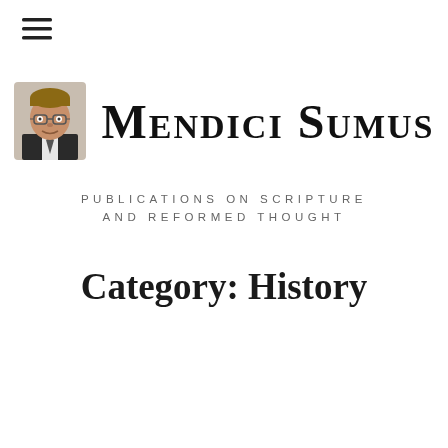[Figure (other): Hamburger menu icon (three horizontal lines) in top-left corner]
[Figure (other): Header logo area with circular/rounded portrait photo of a man with glasses in a suit, next to blackletter site title 'Mendici Sumus']
PUBLICATIONS ON SCRIPTURE AND REFORMED THOUGHT
Category: History